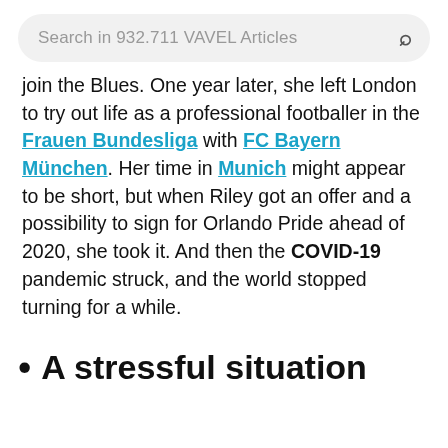Search in 932.711 VAVEL Articles
join the Blues. One year later, she left London to try out life as a professional footballer in the Frauen Bundesliga with FC Bayern München. Her time in Munich might appear to be short, but when Riley got an offer and a possibility to sign for Orlando Pride ahead of 2020, she took it. And then the COVID-19 pandemic struck, and the world stopped turning for a while.
A stressful situation